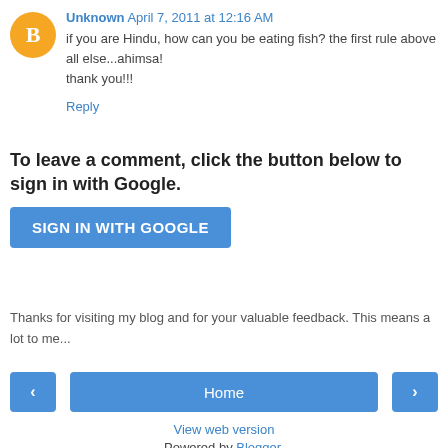Unknown April 7, 2011 at 12:16 AM
if you are Hindu, how can you be eating fish? the first rule above all else...ahimsa!
thank you!!!
Reply
To leave a comment, click the button below to sign in with Google.
SIGN IN WITH GOOGLE
Thanks for visiting my blog and for your valuable feedback. This means a lot to me...
‹
Home
›
View web version
Powered by Blogger.